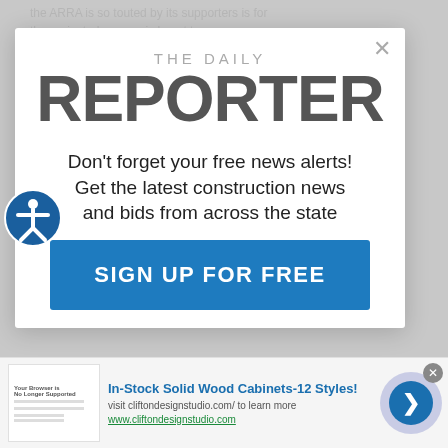the ARRA is so touted by its supporters is for the projected economic boost to come
[Figure (screenshot): Modal popup from The Daily Reporter website with logo, newsletter signup prompt, and Sign Up For Free button]
THE DAILY REPORTER
Don't forget your free news alerts! Get the latest construction news and bids from across the state
SIGN UP FOR FREE
[Figure (infographic): Advertisement banner: In-Stock Solid Wood Cabinets-12 Styles! visit cliftondesignstudio.com/ to learn more. www.cliftondesignstudio.com]